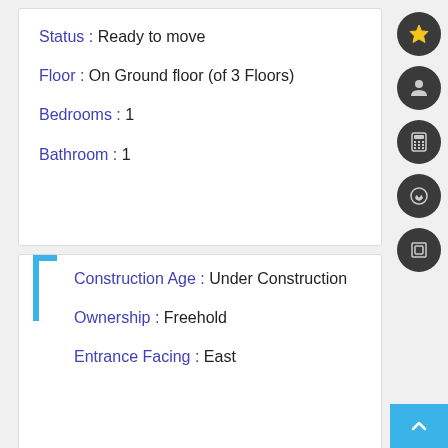Status : Ready to move
Floor : On Ground floor (of 3 Floors)
Bedrooms : 1
Bathroom : 1
Construction Age : Under Construction
Ownership : Freehold
Entrance Facing : East